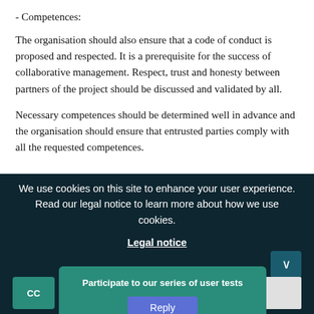- Competences:
The organisation should also ensure that a code of conduct is proposed and respected. It is a prerequisite for the success of collaborative management. Respect, trust and honesty between partners of the project should be discussed and validated by all.
Necessary competences should be determined well in advance and the organisation should ensure that entrusted parties comply with all the requested competences.
We use cookies on this site to enhance your user experience. Read our legal notice to learn more about how we use cookies.
Legal notice
Participate to our series of user tests
Reply